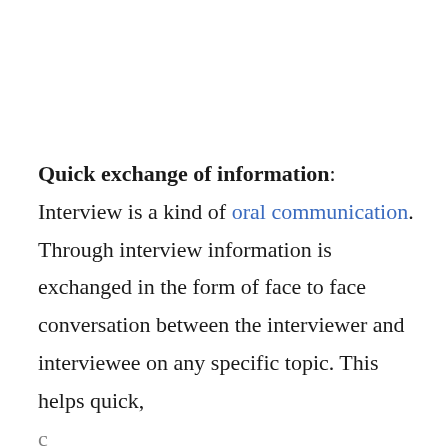Quick exchange of information: Interview is a kind of oral communication. Through interview information is exchanged in the form of face to face conversation between the interviewer and interviewee on any specific topic. This helps quick, [partial text cut off]